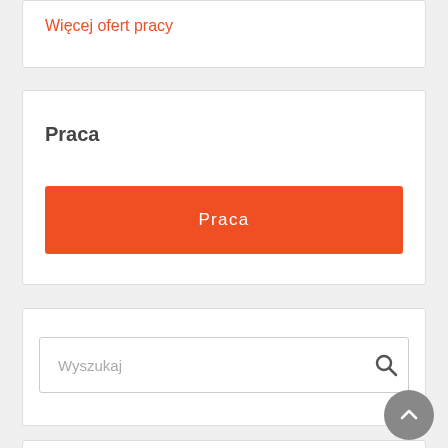Więcej ofert pracy
Praca
Praca
[Figure (screenshot): Search input box with placeholder text 'Wyszukaj' and a magnifying glass icon on the right]
[Figure (other): Back to top button - circular grey button with upward chevron arrow]